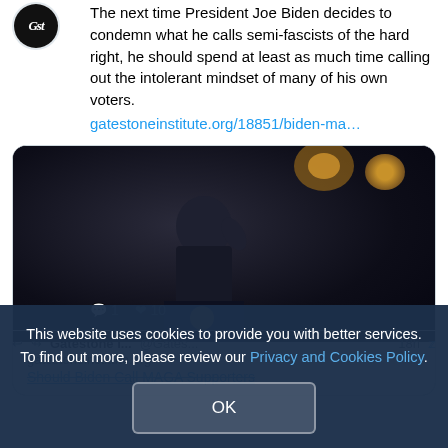The next time President Joe Biden decides to condemn what he calls semi-fascists of the hard right, he should spend at least as much time calling out the intolerant mindset of many of his own voters.
gatestoneinstitute.org/18851/biden-ma…
[Figure (photo): Dark photograph of President Biden speaking at a podium with the Presidential seal, gesturing with his fist, dramatic lighting from behind]
gatestoneinstitute.org
Should Biden Call MAGA Supporters
This website uses cookies to provide you with better services. To find out more, please review our Privacy and Cookies Policy.
OK